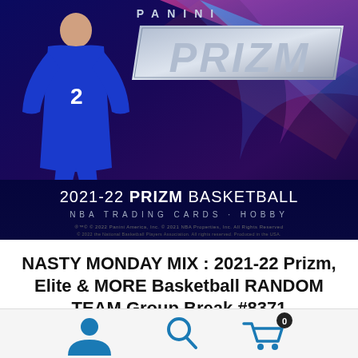[Figure (photo): 2021-22 Panini Prizm Basketball Hobby box product image showing a basketball player in blue uniform on a colorful abstract background with PANINI and PRIZM branding, NBA Trading Cards Hobby label at bottom]
NASTY MONDAY MIX : 2021-22 Prizm, Elite & MORE Basketball RANDOM TEAM Group Break #8371
[Figure (infographic): Bottom navigation bar with user profile icon, search icon, and shopping cart icon with badge showing 0]